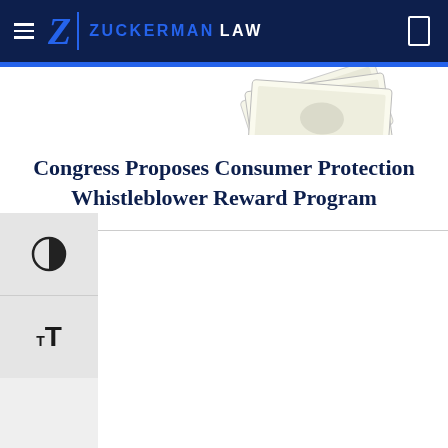Zuckerman Law
[Figure (illustration): Partial view of US dollar bills fanned out against white background]
Congress Proposes Consumer Protection Whistleblower Reward Program
[Figure (infographic): Accessibility controls: contrast toggle button and text size toggle button on left sidebar]